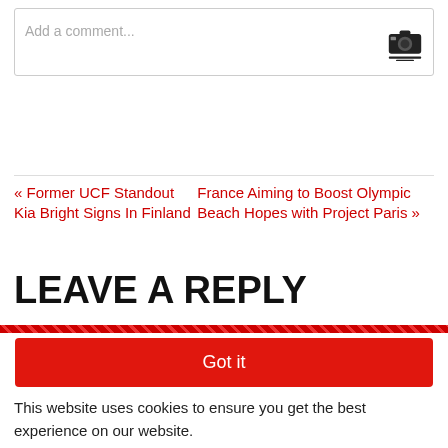Add a comment...
« Former UCF Standout Kia Bright Signs In Finland
France Aiming to Boost Olympic Beach Hopes with Project Paris »
LEAVE A REPLY
Got it
This website uses cookies to ensure you get the best experience on our website.